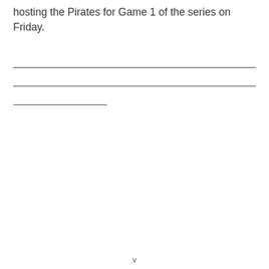hosting the Pirates for Game 1 of the series on Friday.
v